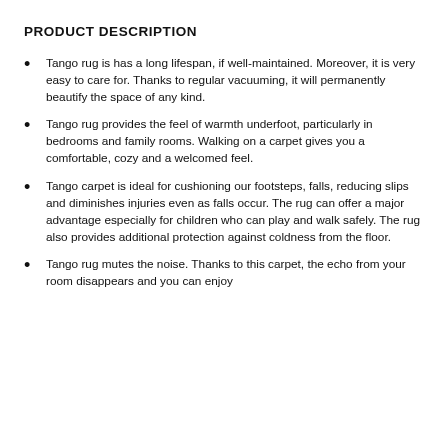PRODUCT DESCRIPTION
Tango rug is has a long lifespan, if well-maintained. Moreover, it is very easy to care for. Thanks to regular vacuuming, it will permanently beautify the space of any kind.
Tango rug provides the feel of warmth underfoot, particularly in bedrooms and family rooms. Walking on a carpet gives you a comfortable, cozy and a welcomed feel.
Tango carpet is ideal for cushioning our footsteps, falls, reducing slips and diminishes injuries even as falls occur. The rug can offer a major advantage especially for children who can play and walk safely. The rug also provides additional protection against coldness from the floor.
Tango rug mutes the noise. Thanks to this carpet, the echo from your room disappears and you can enjoy